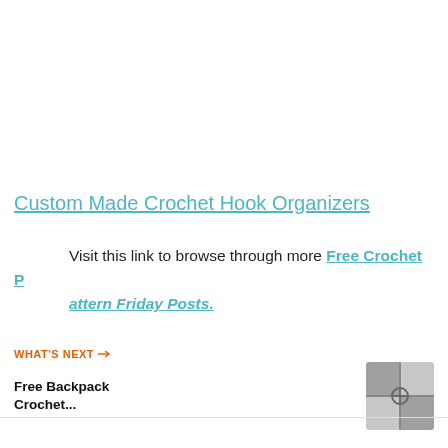Custom Made Crochet Hook Organizers
Visit this link to browse through more Free Crochet Pattern Friday Posts.
[Figure (infographic): Blue heart/like button with count 1.7K and share button below it]
WHAT'S NEXT → Free Backpack Crochet...
[Figure (photo): Small thumbnail photo of a crochet backpack item]